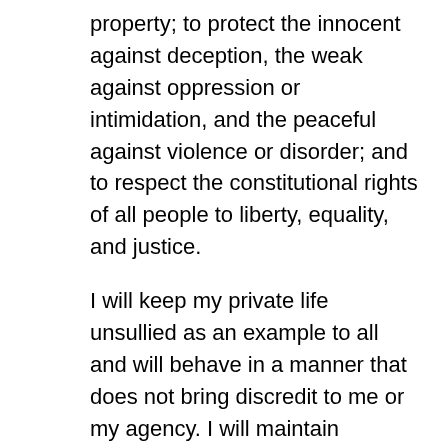property; to protect the innocent against deception, the weak against oppression or intimidation, and the peaceful against violence or disorder; and to respect the constitutional rights of all people to liberty, equality, and justice.
I will keep my private life unsullied as an example to all and will behave in a manner that does not bring discredit to me or my agency. I will maintain courageous calm in the face of danger, scorn, or ridicule; develop self-restraint, and be constantly mindful of the welfare of others. Honest in thought and deed in both my personal and official life, I will be exemplary in obeying the laws of the land and the regulations of my Department. Whatever I see or hear of a confidential nature or that is confided to me in my official capacity will be kept ever secret unless revelation is necessary for the performance of my duty.
I will never act officiously or permit personal feelings,